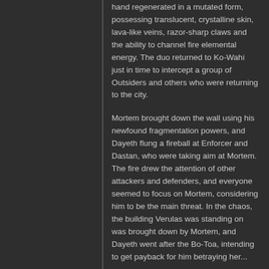hand regenerated in a mutated form, possessing translucent, crystalline skin, lava-like veins, razor-sharp claws and the ability to channel fire elemental energy. The duo returned to Ko-Wahi just in time to intercept a group of Outsiders and others who were returning to the city.
Mortem brought down the wall using his newfound fragmentation powers, and Dayeth flung a fireball at Enforcer and Dastan, who were taking aim at Mortem. The fire drew the attention of other attackers and defenders, and everyone seemed to focus on Mortem, considering him to be the main threat. In the chaos, the building Verulas was standing on was brought down by Mortem, and Dayeth went after the Bo-Toa, intending to get payback for him betraying her...